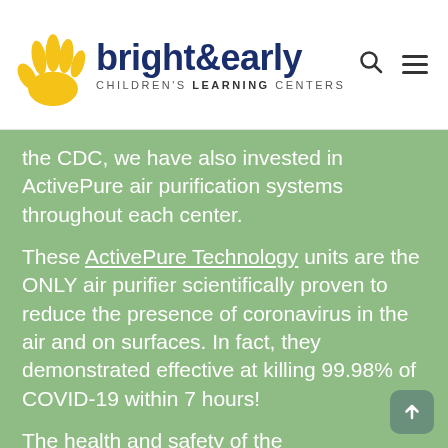[Figure (logo): Bright & Early Children's Learning Centers logo with yellow hand print and dark blue text]
the CDC, we have also invested in ActivePure air purification systems throughout each center.
These ActivePure Technology units are the ONLY air purifier scientifically proven to reduce the presence of coronavirus in the air and on surfaces. In fact, they demonstrated effective at killing 99.98% of COVID-19 within 7 hours!
The health and safety of the